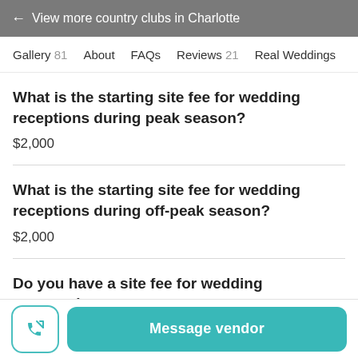← View more country clubs in Charlotte
Gallery 81  About  FAQs  Reviews 21  Real Weddings
What is the starting site fee for wedding receptions during peak season?
$2,000
What is the starting site fee for wedding receptions during off-peak season?
$2,000
Do you have a site fee for wedding ceremonies
Message vendor